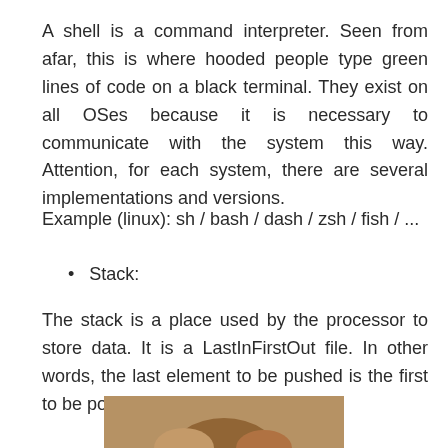A shell is a command interpreter. Seen from afar, this is where hooded people type green lines of code on a black terminal. They exist on all OSes because it is necessary to communicate with the system this way. Attention, for each system, there are several implementations and versions.
Example (linux): sh / bash / dash / zsh / fish / ...
Stack:
The stack is a place used by the processor to store data. It is a LastInFirstOut file. In other words, the last element to be pushed is the first to be popped.
[Figure (photo): Partial image visible at the bottom of the page, showing what appears to be a brown/tan colored photo, cropped at the page edge.]